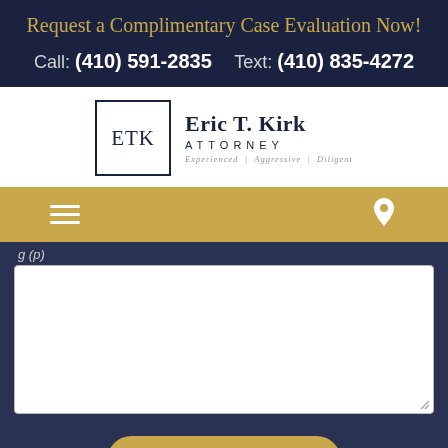Request a Complimentary Case Evaluation Now!
Call: (410) 591-2835     Text: (410) 835-4272
[Figure (logo): ETK Attorney logo with monogram box and text 'Eric T. Kirk ATTORNEY Experienced | Aggressive | Diligent']
[Figure (screenshot): Gold navigation bar with hamburger menu icon and location pin icon]
g (p)
[Figure (screenshot): White textarea input box for form submission]
Submit Request